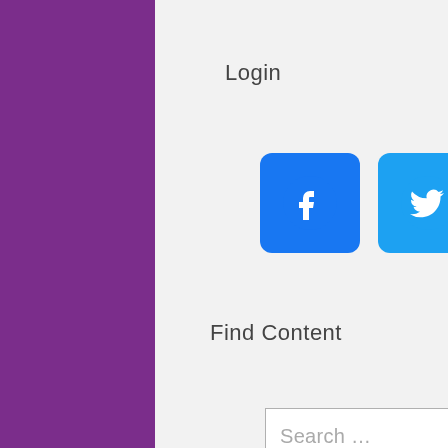[Figure (screenshot): Purple button partially visible at top of white content column]
Login
[Figure (infographic): Row of four social media icon buttons: Facebook (blue), Twitter (light blue), WordPress (teal-blue), LinkedIn (dark teal)]
Find Content
[Figure (screenshot): Search input field with placeholder text 'Search ...' and a Search button below it]
Microsoft News
Privacy & Cookies Policy